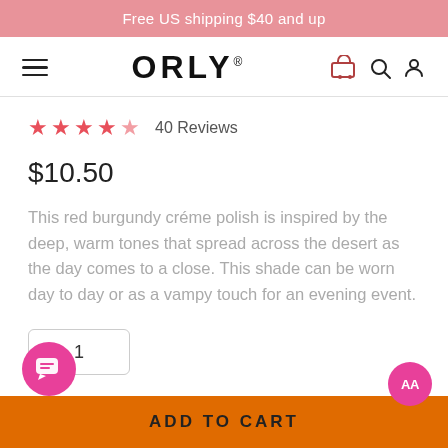Free US shipping $40 and up
[Figure (logo): ORLY brand logo with hamburger menu, cart, search, and user icons in navigation bar]
40 Reviews
$10.50
This red burgundy créme polish is inspired by the deep, warm tones that spread across the desert as the day comes to a close. This shade can be worn day to day or as a vampy touch for an evening event.
1
ADD TO CART